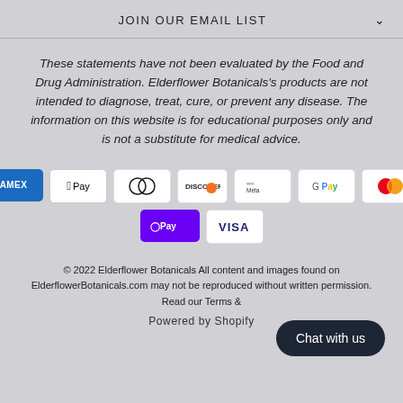JOIN OUR EMAIL LIST
These statements have not been evaluated by the Food and Drug Administration. Elderflower Botanicals's products are not intended to diagnose, treat, cure, or prevent any disease. The information on this website is for educational purposes only and is not a substitute for medical advice.
[Figure (other): Payment method icons: American Express, Apple Pay, Diners Club, Discover, Meta Pay, Google Pay, Mastercard, Shop Pay, Visa]
© 2022 Elderflower Botanicals All content and images found on ElderflowerBotanicals.com may not be reproduced without written permission. Read our Terms &
Powered by Shopify